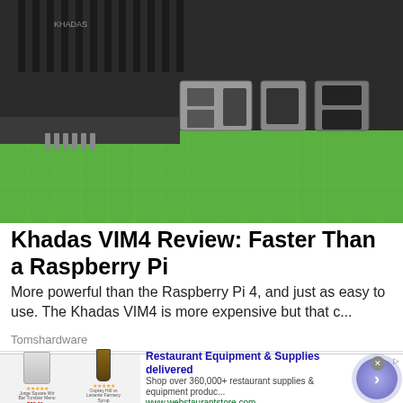[Figure (photo): Close-up photo of Khadas VIM4 single-board computer showing ports and heatsink on a green cutting mat]
Khadas VIM4 Review: Faster Than a Raspberry Pi
More powerful than the Raspberry Pi 4, and just as easy to use. The Khadas VIM4 is more expensive but that c...
Tomshardware
[Figure (photo): Group photo of people wearing blue t-shirts standing on a city street]
[Figure (screenshot): Advertisement for Restaurant Equipment & Supplies delivered from webstaurantstore.com showing product images and a blue arrow button]